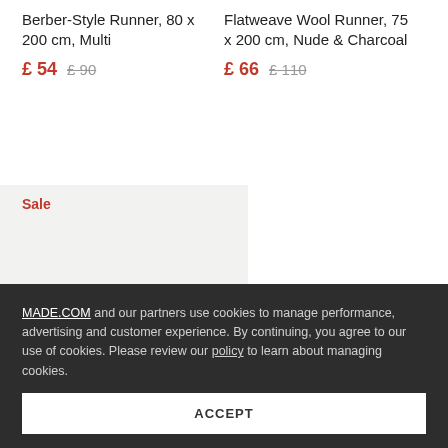Berber-Style Runner, 80 x 200 cm, Multi
£ 54  £ 90
Flatweave Wool Runner, 75 x 200 cm, Nude & Charcoal
£ 66  £ 110
[Figure (photo): Sale badge and partial rug product image showing a flatweave texture in beige/natural tones on light grey background]
MADE.COM and our partners use cookies to manage performance, advertising and customer experience. By continuing, you agree to our use of cookies. Please review our policy to learn about managing cookies.
ACCEPT